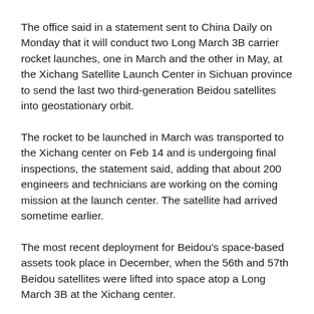The office said in a statement sent to China Daily on Monday that it will conduct two Long March 3B carrier rocket launches, one in March and the other in May, at the Xichang Satellite Launch Center in Sichuan province to send the last two third-generation Beidou satellites into geostationary orbit.
The rocket to be launched in March was transported to the Xichang center on Feb 14 and is undergoing final inspections, the statement said, adding that about 200 engineers and technicians are working on the coming mission at the launch center. The satellite had arrived sometime earlier.
The most recent deployment for Beidou's space-based assets took place in December, when the 56th and 57th Beidou satellites were lifted into space atop a Long March 3B at the Xichang center.
They are now operating in medium Earth orbits about